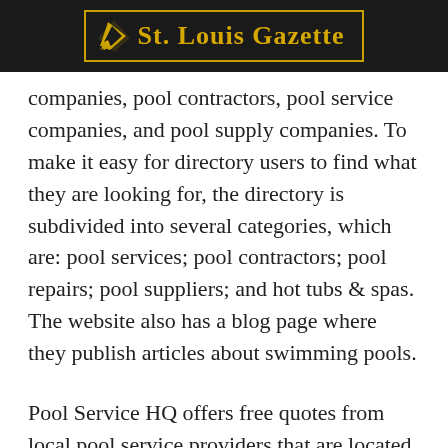St. Louis Gazette
companies, pool contractors, pool service companies, and pool supply companies. To make it easy for directory users to find what they are looking for, the directory is subdivided into several categories, which are: pool services; pool contractors; pool repairs; pool suppliers; and hot tubs & spas. The website also has a blog page where they publish articles about swimming pools.
Pool Service HQ offers free quotes from local pool service providers that are located near that particular customer for various kinds of pool services, such as pool supplies, liner services, pool installation and construction for indoor or outdoor pools, leak detection, pool maintenance, and cleaning, among other services.